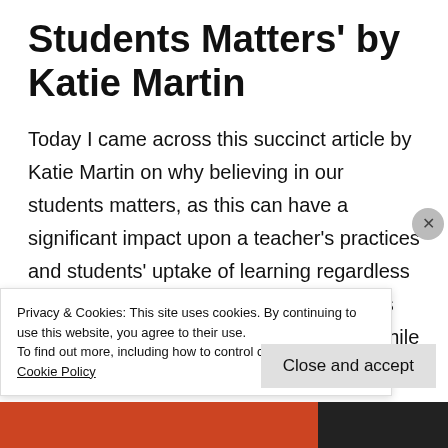Students Matters' by Katie Martin
Today I came across this succinct article by Katie Martin on why believing in our students matters, as this can have a significant impact upon a teacher's practices and students' uptake of learning regardless of where learning and teaching that takes place - whether face-to-face or online. While I have known about the need to
Privacy & Cookies: This site uses cookies. By continuing to use this website, you agree to their use.
To find out more, including how to control cookies, see here: Cookie Policy
Close and accept